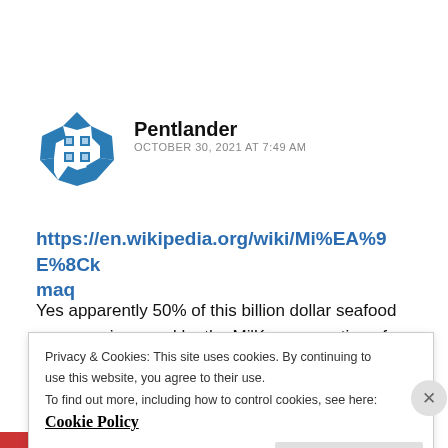[Figure (logo): Blue geometric globe/grid avatar icon for user Pentlander]
Pentlander
OCTOBER 30, 2021 AT 7:49 AM
https://en.wikipedia.org/wiki/Mi%EA%9E%8Ckmaq
Yes apparently 50% of this billion dollar seafood company is owned by the Mi'Kmaq, a nation of
Privacy & Cookies: This site uses cookies. By continuing to use this website, you agree to their use.
To find out more, including how to control cookies, see here:
Cookie Policy
Close and accept